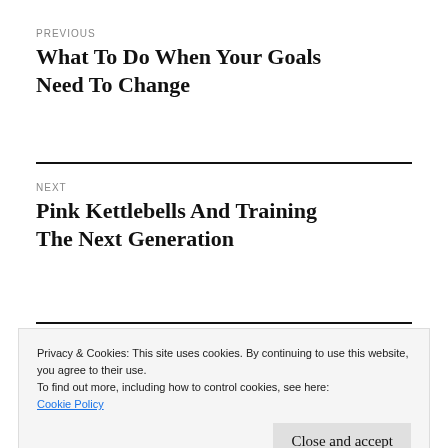PREVIOUS
What To Do When Your Goals Need To Change
NEXT
Pink Kettlebells And Training The Next Generation
Privacy & Cookies: This site uses cookies. By continuing to use this website, you agree to their use.
To find out more, including how to control cookies, see here: Cookie Policy
Close and accept